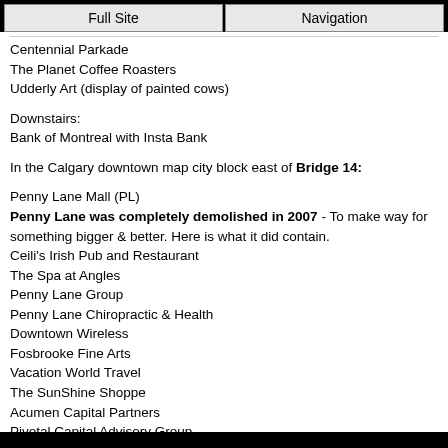Full Site | Navigation
Centennial Parkade
The Planet Coffee Roasters
Udderly Art (display of painted cows)
Downstairs:
Bank of Montreal with Insta Bank
In the Calgary downtown map city block east of Bridge 14:
Penny Lane Mall (PL)
Penny Lane was completely demolished in 2007 - To make way for something bigger & better. Here is what it did contain.
Ceili's Irish Pub and Restaurant
The Spa at Angles
Penny Lane Group
Penny Lane Chiropractic & Health
Downtown Wireless
Fosbrooke Fine Arts
Vacation World Travel
The SunShine Shoppe
Acumen Capital Partners
Pivotal Capital Advisory Group
AG Strolling Ltd.
AGS Energy Equities Ltd.